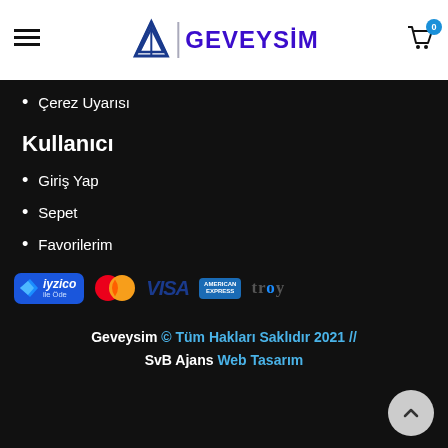GEVEYSİM
Çerez Uyarısı
Kullanıcı
Giriş Yap
Sepet
Favorilerim
[Figure (logo): Payment method logos: iyzico ile Öde, Mastercard, VISA, American Express, Troy]
Geveysim © Tüm Hakları Saklıdır 2021 // SvB Ajans Web Tasarım